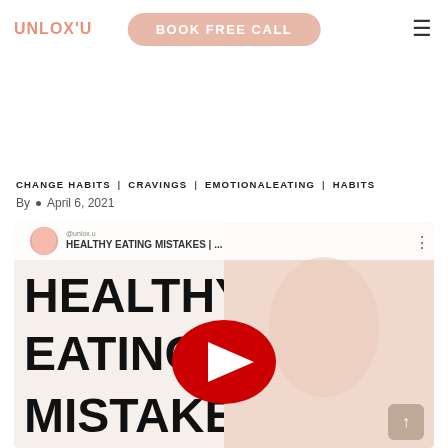UNLOX'U | BOOK FREE CALL
CHANGE HABITS | CRAVINGS | EMOTIONALEATING | HABITS
By • April 6, 2021
[Figure (screenshot): YouTube video thumbnail for 'HEALTHY EATING MISTAKES' showing a blonde woman in pink sweater with large bold text reading HEALTHY EATING MISTAKES, and a red YouTube play button in the center. A small circular profile photo of the same woman is visible in the top left corner.]